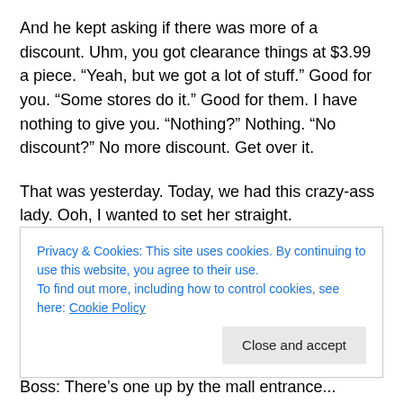And he kept asking if there was more of a discount. Uhm, you got clearance things at $3.99 a piece. “Yeah, but we got a lot of stuff.” Good for you. “Some stores do it.” Good for them. I have nothing to give you. “Nothing?” Nothing. “No discount?” No more discount. Get over it.
That was yesterday. Today, we had this crazy-ass lady. Ooh, I wanted to set her straight.
My one boss, when she comes to help ring, doesn’t really like to ring. She’ll help bag instead. Hey, it gets my job done faster. I had this big order, too. With lots of clothes
Privacy & Cookies: This site uses cookies. By continuing to use this website, you agree to their use.
To find out more, including how to control cookies, see here: Cookie Policy
Boss: There’s one up by the mall entrance...